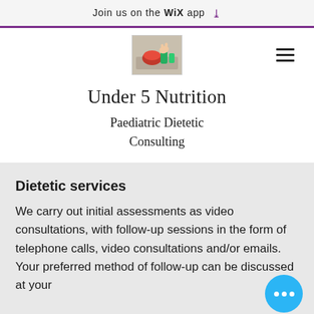Join us on the WiX app
[Figure (photo): Logo image showing food items with a hand, used as the site logo for Under 5 Nutrition]
Under 5 Nutrition
Paediatric Dietetic Consulting
Dietetic services
We carry out initial assessments as video consultations, with follow-up sessions in the form of telephone calls, video consultations and/or emails. Your preferred method of follow-up can be discussed at your